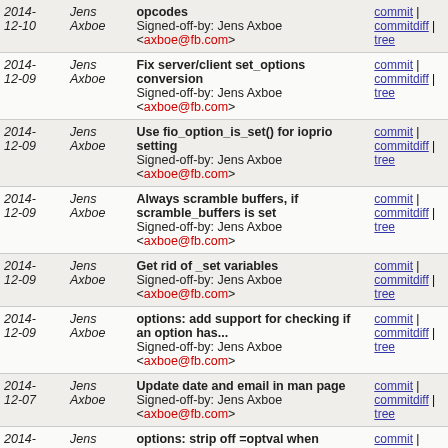| Date | Author | Message | Links |
| --- | --- | --- | --- |
| 2014-12-10 | Jens Axboe | opcodes
Signed-off-by: Jens Axboe <axboe@fb.com> | commit | commitdiff | tree |
| 2014-12-09 | Jens Axboe | Fix server/client set_options conversion
Signed-off-by: Jens Axboe <axboe@fb.com> | commit | commitdiff | tree |
| 2014-12-09 | Jens Axboe | Use fio_option_is_set() for ioprio setting
Signed-off-by: Jens Axboe <axboe@fb.com> | commit | commitdiff | tree |
| 2014-12-09 | Jens Axboe | Always scramble buffers, if scramble_buffers is set
Signed-off-by: Jens Axboe <axboe@fb.com> | commit | commitdiff | tree |
| 2014-12-09 | Jens Axboe | Get rid of _set variables
Signed-off-by: Jens Axboe <axboe@fb.com> | commit | commitdiff | tree |
| 2014-12-09 | Jens Axboe | options: add support for checking if an option has...
Signed-off-by: Jens Axboe <axboe@fb.com> | commit | commitdiff | tree |
| 2014-12-07 | Jens Axboe | Update date and email in man page
Signed-off-by: Jens Axboe <axboe@fb.com> | commit | commitdiff | tree |
| 2014-12-06 | Jens Axboe | options: strip off =optval when matching
Signed-off-by: Jens Axboe <axboe@fb.com> | commit | commitdiff | tree |